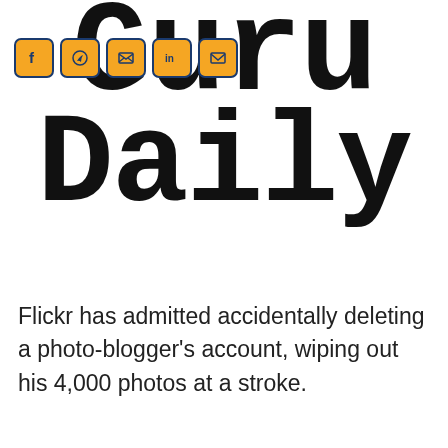[Figure (logo): Guru Daily logo with large serif/monospace bold text showing 'Guru' on top line and 'Daily' on second line, with social media icons (Facebook, WhatsApp, Twitter, LinkedIn, Email) overlaid on the top-left of the logo]
Flickr has admitted accidentally deleting a photo-blogger's account, wiping out his 4,000 photos at a stroke.